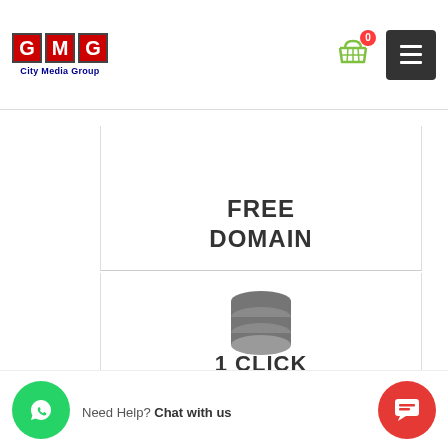[Figure (logo): GMG City Media Group logo with red letter tiles and blue text]
[Figure (other): Shopping cart icon with badge showing 0]
[Figure (other): Hamburger menu icon on dark background]
FREE
DOMAIN
[Figure (other): Database stack icon in gray]
UNLIMITED
DATABASE
1 CLICK
APPS
Need Help? Chat with us
[Figure (other): WhatsApp button (green circle with phone icon)]
[Figure (other): Chat button (red circle with chat icon)]